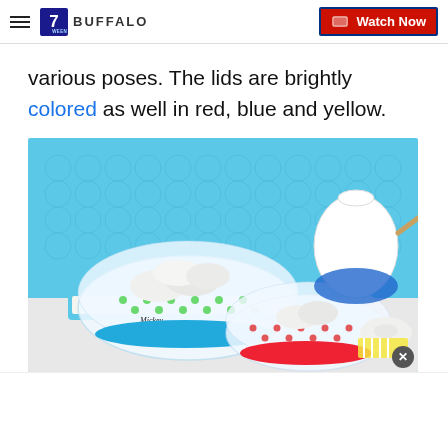7 WEEN BUFFALO | Watch Now
various poses. The lids are brightly colored as well in red, blue and yellow.
[Figure (photo): Two glass bowls with Mickey Mouse polka-dot designs and colored lids (blue and red), filled with powdered sugar donuts, on a blue background with a white-and-blue teapot in the back right.]